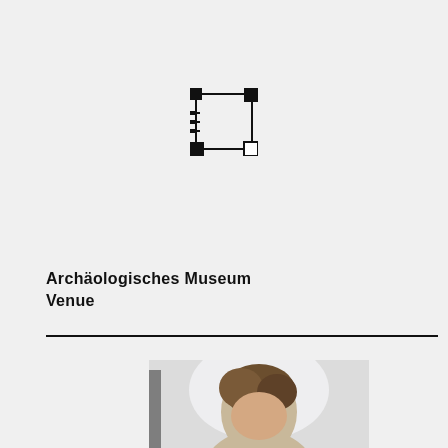[Figure (logo): Schematic architectural/technical icon resembling a building floor plan with corner markers and cross lines, rendered in black pixelated style]
Archäologisches Museum
Venue
[Figure (photo): Cropped portrait photo of a person, showing top of head with brown hair, face partially visible, white/light background]